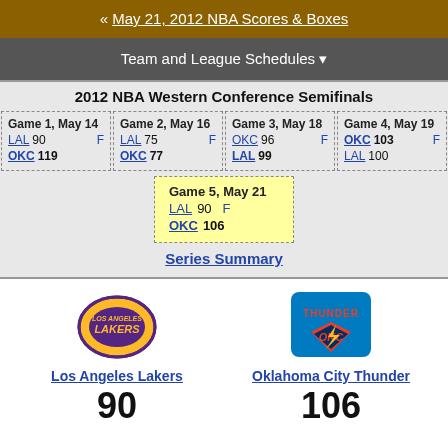« May 21, 2012 NBA Scores & Boxes
Team and League Schedules ▾
2012 NBA Western Conference Semifinals
| Game | Team | Score | F |
| --- | --- | --- | --- |
| Game 1, May 14 | LAL | 90 | F |
| Game 1, May 14 | OKC | 119 |  |
| Game 2, May 16 | LAL | 75 | F |
| Game 2, May 16 | OKC | 77 |  |
| Game 3, May 18 | OKC | 96 | F |
| Game 3, May 18 | LAL | 99 |  |
| Game 4, May 19 | OKC | 103 | F |
| Game 4, May 19 | LAL | 100 |  |
| Game 5, May 21 | LAL | 90 | F |
| Game 5, May 21 | OKC | 106 |  |
Series Summary
[Figure (logo): Los Angeles Lakers logo]
Los Angeles Lakers
90
[Figure (logo): Oklahoma City Thunder logo]
Oklahoma City Thunder
106